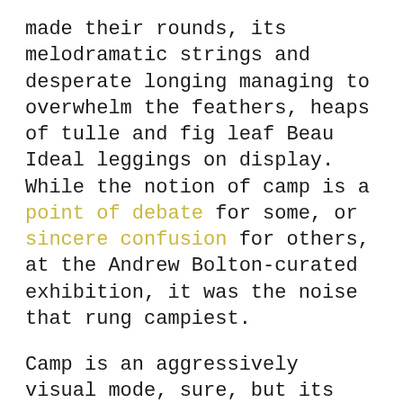made their rounds, its melodramatic strings and desperate longing managing to overwhelm the feathers, heaps of tulle and fig leaf Beau Ideal leggings on display. While the notion of camp is a point of debate for some, or sincere confusion for others, at the Andrew Bolton-curated exhibition, it was the noise that rung campiest.
Camp is an aggressively visual mode, sure, but its power can transcend kitschy playthings and assume a form so translucent, so unnerving, that it actually surrounds you. And in the case of my time at the Met, it can even